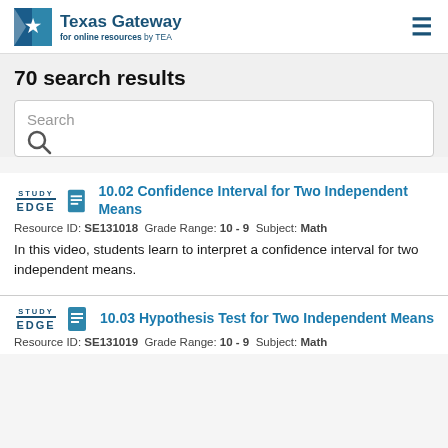Texas Gateway for online resources by TEA
70 search results
Search
10.02 Confidence Interval for Two Independent Means
Resource ID: SE131018  Grade Range: 10 - 9  Subject: Math
In this video, students learn to interpret a confidence interval for two independent means.
10.03 Hypothesis Test for Two Independent Means
Resource ID: SE131019  Grade Range: 10 - 9  Subject: Math